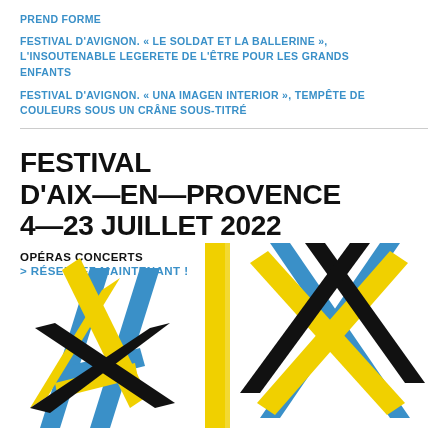PREND FORME
FESTIVAL D'AVIGNON. « LE SOLDAT ET LA BALLERINE », L'INSOUTENABLE LEGERETE DE L'ÊTRE POUR LES GRANDS ENFANTS
FESTIVAL D'AVIGNON. « UNA IMAGEN INTERIOR », TEMPÊTE DE COULEURS SOUS UN CRÂNE SOUS-TITRÉ
FESTIVAL D'AIX—EN—PROVENCE
4—23 JUILLET 2022
OPÉRAS CONCERTS
> RÉSERVEZ MAINTENANT !
[Figure (logo): Festival d'Aix-en-Provence logo showing the letters A I X made from overlapping colored strips in blue, yellow, and black at various angles]